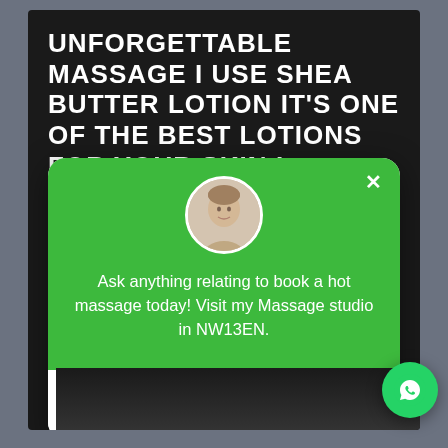UNFORGETTABLE MASSAGE I USE SHEA BUTTER LOTION IT'S ONE OF THE BEST LOTIONS FOR YOUR SKIN I PROVIDE SWEDISH SPORTS BODY TO BODY B1 INCL. MASSAGE AT MY
[Figure (screenshot): A chat popup widget with green header, circular avatar of a young man, message text, and input field with send button]
Ask anything relating to book a hot massage today! Visit my Massage studio in NW13EN.
Hot Massage
[Figure (logo): WhatsApp floating action button (green circle with WhatsApp phone icon)]